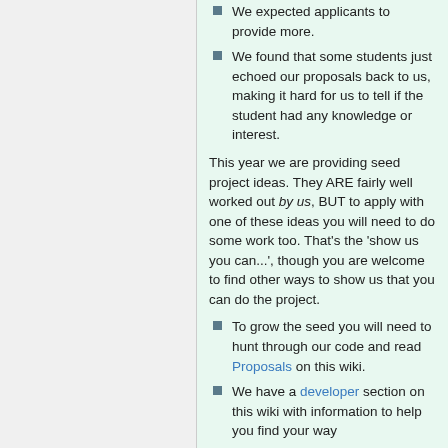We expected applicants to provide more.
We found that some students just echoed our proposals back to us, making it hard for us to tell if the student had any knowledge or interest.
This year we are providing seed project ideas. They ARE fairly well worked out by us, BUT to apply with one of these ideas you will need to do some work too. That's the 'show us you can...', though you are welcome to find other ways to show us that you can do the project.
To grow the seed you will need to hunt through our code and read Proposals on this wiki.
We have a developer section on this wiki with information to help you find your way